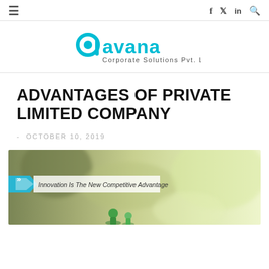≡  f  𝕏  in  🔍
[Figure (logo): Aavana Corporate Solutions Pvt. Ltd logo with teal/cyan stylized text]
ADVANTAGES OF PRIVATE LIMITED COMPANY
- OCTOBER 10, 2019
[Figure (photo): Hero image showing blurred indoor/outdoor background with a blue arrow banner reading 'Innovation Is The New Competitive Advantage' and green figurines at bottom]